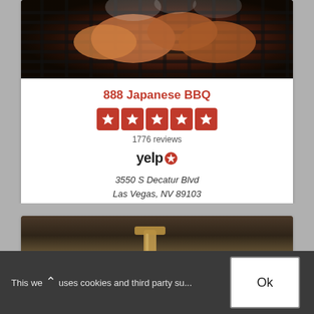[Figure (photo): Close-up photo of meat cooking on a grill with smoke rising, dark background]
888 Japanese BBQ
[Figure (other): Five red star rating boxes with white stars]
1776 reviews
[Figure (logo): Yelp logo with red starburst icon]
3550 S Decatur Blvd
Las Vegas, NV 89103
(702) 476-5033
[Figure (photo): Photo of bar or restaurant interior with bottles and glassware]
This we uses cookies and third party su...
Ok